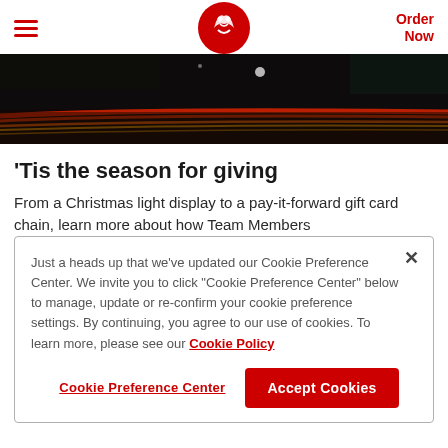≡  [Chick-fil-A logo]  Order Now
[Figure (photo): Night photo with light trails from vehicles on a road, dark background with red and yellow streaks]
'Tis the season for giving
From a Christmas light display to a pay-it-forward gift card chain, learn more about how Team Members
Just a heads up that we've updated our Cookie Preference Center. We invite you to click "Cookie Preference Center" below to manage, update or re-confirm your cookie preference settings. By continuing, you agree to our use of cookies. To learn more, please see our Cookie Policy
Cookie Preference Center   Accept Cookies